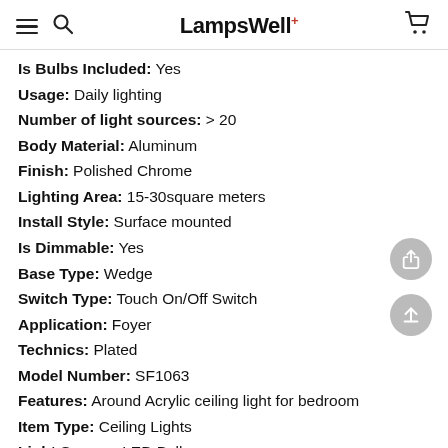LampsWell+
Is Bulbs Included: Yes
Usage: Daily lighting
Number of light sources: > 20
Body Material: Aluminum
Finish: Polished Chrome
Lighting Area: 15-30square meters
Install Style: Surface mounted
Is Dimmable: Yes
Base Type: Wedge
Switch Type: Touch On/Off Switch
Application: Foyer
Technics: Plated
Model Number: SF1063
Features: Around Acrylic ceiling light for bedroom
Item Type: Ceiling Lights
Light Source: LED Bulbs
Style: Modern